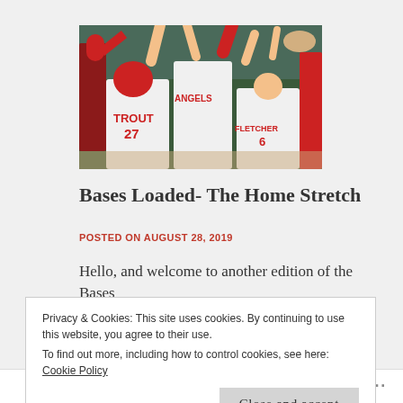[Figure (photo): Baseball players in Angels uniforms celebrating with high-fives; player 27 TROUT visible, player FLETCHER 6 also visible]
Bases Loaded- The Home Stretch
POSTED ON AUGUST 28, 2019
Hello, and welcome to another edition of the Bases
Privacy & Cookies: This site uses cookies. By continuing to use this website, you agree to their use. To find out more, including how to control cookies, see here: Cookie Policy
Close and accept
Follow